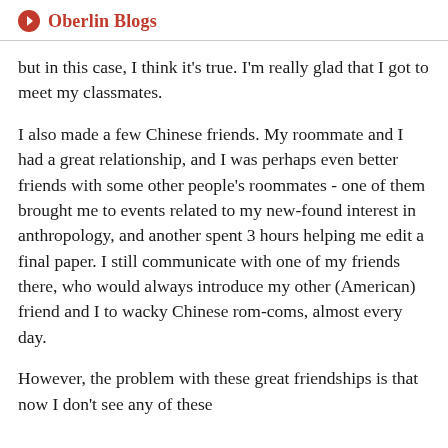Oberlin Blogs
but in this case, I think it's true. I'm really glad that I got to meet my classmates.
I also made a few Chinese friends. My roommate and I had a great relationship, and I was perhaps even better friends with some other people's roommates - one of them brought me to events related to my new-found interest in anthropology, and another spent 3 hours helping me edit a final paper. I still communicate with one of my friends there, who would always introduce my other (American) friend and I to wacky Chinese rom-coms, almost every day.
However, the problem with these great friendships is that now I don't see any of these